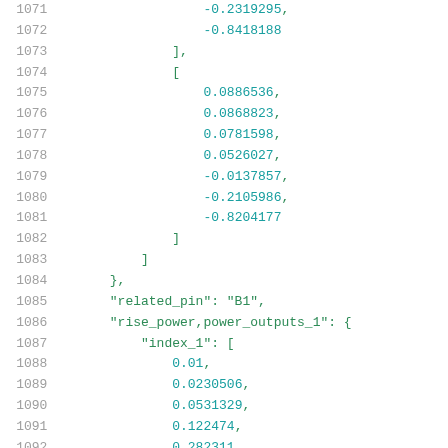Code listing lines 1071-1092 showing array data and JSON-like structure with related_pin, rise_power,power_outputs_1, and index_1 fields